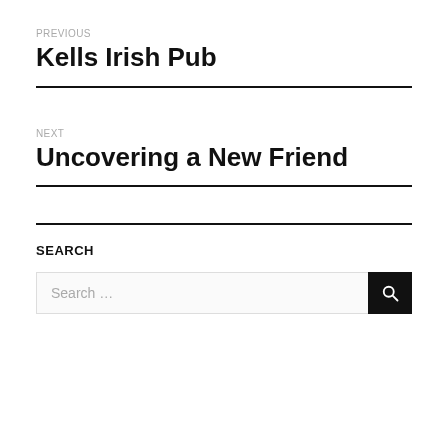PREVIOUS
Kells Irish Pub
NEXT
Uncovering a New Friend
SEARCH
Search ...